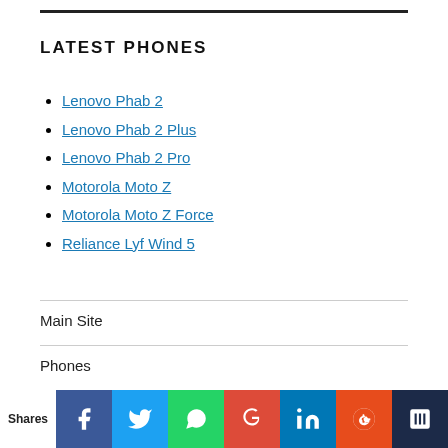LATEST PHONES
Lenovo Phab 2
Lenovo Phab 2 Plus
Lenovo Phab 2 Pro
Motorola Moto Z
Motorola Moto Z Force
Reliance Lyf Wind 5
Main Site
Phones
Shares